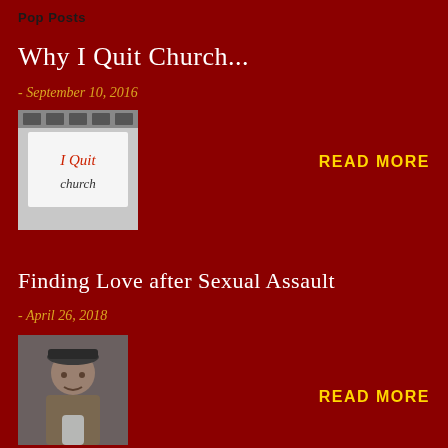Pop Posts
Why I Quit Church...
- September 10, 2016
[Figure (photo): Image of a sign handwritten reading 'I Quit church']
READ MORE
Finding Love after Sexual Assault
- April 26, 2018
[Figure (photo): Photo of a person wearing a cap, selfie style]
READ MORE